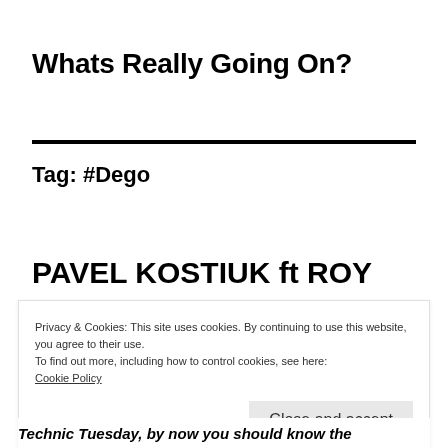Whats Really Going On?
Tag: #Dego
PAVEL KOSTIUK ft ROY
Privacy & Cookies: This site uses cookies. By continuing to use this website, you agree to their use.
To find out more, including how to control cookies, see here: Cookie Policy
Close and accept
Technic Tuesday, by now you should know the